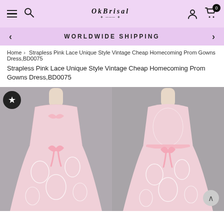[Figure (screenshot): OkBrisal e-commerce website navigation bar with hamburger menu, search icon, OkBrisal logo, user icon, and cart icon with badge showing 0]
WORLDWIDE SHIPPING
Home > Strapless Pink Lace Unique Style Vintage Cheap Homecoming Prom Gowns Dress,BD0075
Strapless Pink Lace Unique Style Vintage Cheap Homecoming Prom Gowns Dress,BD0075
[Figure (photo): Front view of a strapless pink lace vintage-style homecoming prom dress on a mannequin, with pink bow detail at the waist, displayed against a gray background]
[Figure (photo): Back view of the same strapless pink lace vintage-style homecoming prom dress on a mannequin, with pink bow detail, displayed against a gray background]